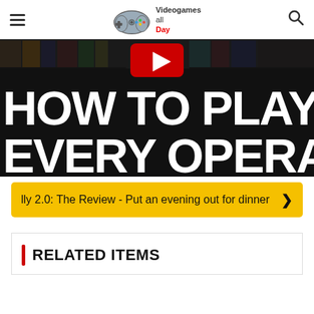Videogames all Day — navigation header with hamburger menu and search icon
[Figure (screenshot): Hero image with dark game background and bold white text reading HOW TO PLAY EVERY OPERATOR]
lly 2.0: The Review - Put an evening out for dinner ›
RELATED ITEMS